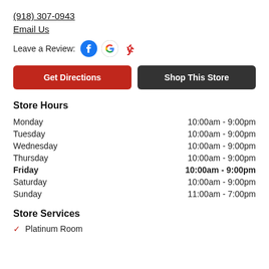(918) 307-0943
Email Us
Leave a Review:
[Figure (other): Facebook, Google, and Yelp review icons]
Get Directions
Shop This Store
Store Hours
| Day | Hours |
| --- | --- |
| Monday | 10:00am - 9:00pm |
| Tuesday | 10:00am - 9:00pm |
| Wednesday | 10:00am - 9:00pm |
| Thursday | 10:00am - 9:00pm |
| Friday | 10:00am - 9:00pm |
| Saturday | 10:00am - 9:00pm |
| Sunday | 11:00am - 7:00pm |
Store Services
Platinum Room